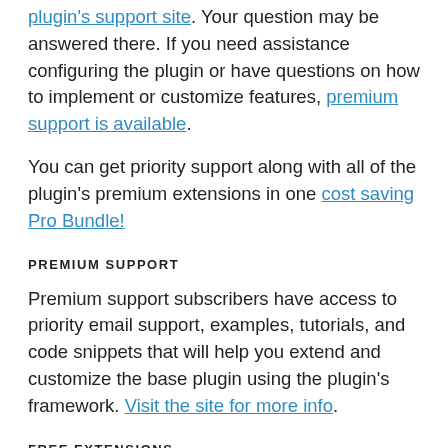plugin's support site. Your question may be answered there. If you need assistance configuring the plugin or have questions on how to implement or customize features, premium support is available.
You can get priority support along with all of the plugin's premium extensions in one cost saving Pro Bundle!
PREMIUM SUPPORT
Premium support subscribers have access to priority email support, examples, tutorials, and code snippets that will help you extend and customize the base plugin using the plugin's framework. Visit the site for more info.
FREE EXTENSIONS
Stop Spam Registrations – Uses